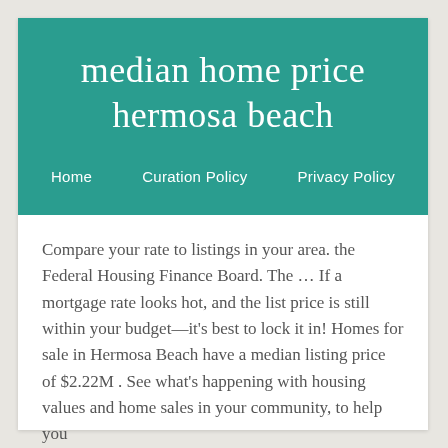median home price hermosa beach
Home   Curation Policy   Privacy Policy
Compare your rate to listings in your area. the Federal Housing Finance Board. The … If a mortgage rate looks hot, and the list price is still within your budget—it's best to lock it in! Homes for sale in Hermosa Beach have a median listing price of $2.22M . See what's happening with housing values and home sales in your community, to help you